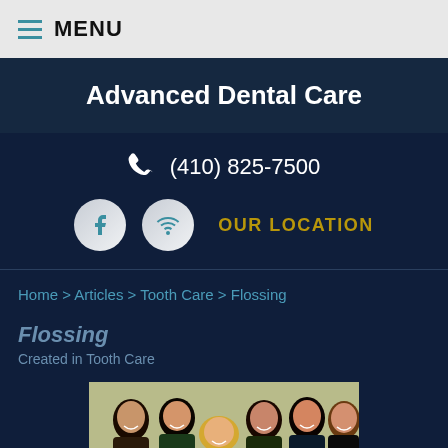≡ MENU
Advanced Dental Care
(410) 825-7500
OUR LOCATION
Home > Articles > Tooth Care > Flossing
Flossing
Created in Tooth Care
[Figure (photo): Group photo of dental staff - six women smiling together against a light green background]